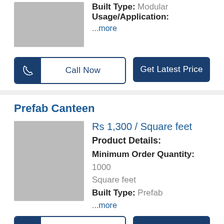Built Type: Modular
Usage/Application:
...more
Call Now
Get Latest Price
Prefab Canteen
Rs 1,300 / Square feet
Product Details:
Minimum Order Quantity: 1000 Square feet
Built Type: Prefab
...more
Call Now
Get Latest Price